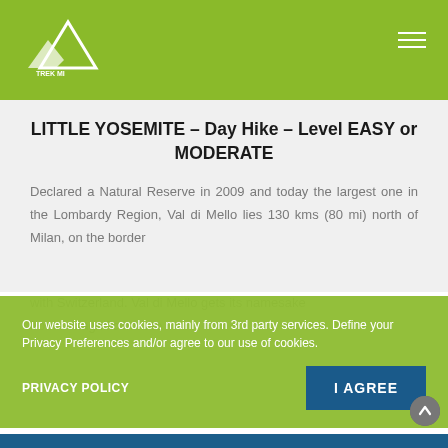Trek Mi logo and navigation
LITTLE YOSEMITE – Day Hike – Level EASY or MODERATE
Declared a Natural Reserve in 2009 and today the largest one in the Lombardy Region, Val di Mello lies 130 kms (80 mi) north of Milan, on the border with Switzerland. Val di Mello gets its namesake from... the Valley...
Our website uses cookies, mainly from 3rd party services. Define your Privacy Preferences and/or agree to our use of cookies.
PRIVACY POLICY
I AGREE